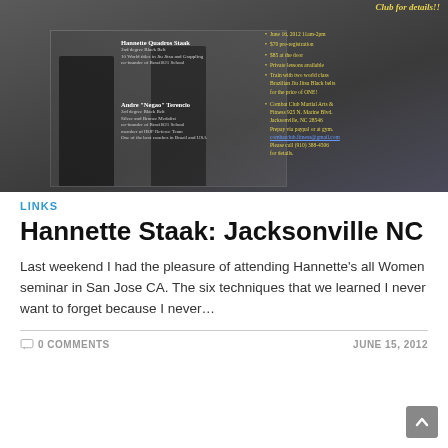[Figure (photo): Martial arts seminar flyer with dark background showing two martial artists in black gis. Left side shows instructor profiles: Hannette Quadros Staak (2nd degree Black Belt, 10 World titles in Jiu Jitsu and Grappling, co-founder of Brazil021 School) and Andre 'Negao' Terencio (3rd degree Black Belt, Silver and Bronze Medalist, co-founder of Brazil021 School, member of IBJF Referee Team, One of the best coaches in Brazil and USA). Right side in yellow text shows event details: June 16, 2012 11am-2pm, $70 pre-registration, $85 at the door, Private lessons available, Train with two world class Brazilian Jiu Jitsu Black belts for the price of ONE!, Combat Club Martial Arts & Fitness 925 N. Marine Blvd. Jacksonville, NC 28546, Prepay via paypal or at gym, email link, Please call (910) 388-4506 for details.]
LINKS
Hannette Staak: Jacksonville NC
Last weekend I had the pleasure of attending Hannette's all Women seminar in San Jose CA. The six techniques that we learned I never want to forget because I never…
0 COMMENTS
JUNE 15, 2012